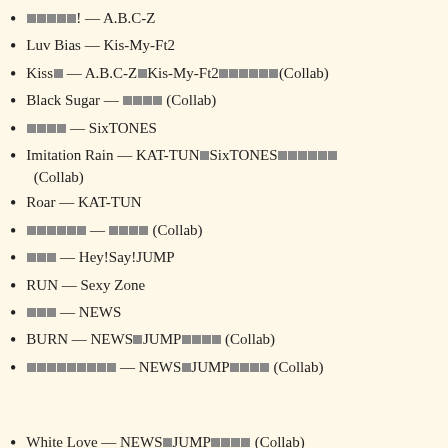□□□□□! — A.B.C-Z
Luv Bias — Kis-My-Ft2
Kiss□ — A.B.C-Z×Kis-My-Ft2□□□□□□(Collab)
Black Sugar — □□□□ (Collab)
□□□□ — SixTONES
Imitation Rain — KAT-TUN×SixTONES□□□□□□ (Collab)
Roar — KAT-TUN
□□□□□□ — □□□□ (Collab)
□□□ — Hey!Say!JUMP
RUN — Sexy Zone
□□□ — NEWS
BURN — NEWS×JUMP□□□□ (Collab)
□□□□□□□□□ — NEWS×JUMP□□□□ (Collab)
White Love — NEWS×JUMP□□□□ (Collab)
□□□□□□□□ — □□□□□□□ (Collab)
Magic Touch — King & Prince